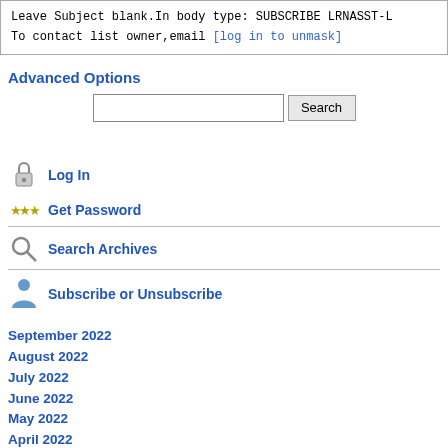Leave Subject blank.In body type: SUBSCRIBE LRNASST-L
To contact list owner,email [log in to unmask]
Advanced Options
[Figure (other): Search input box with Search button]
[Figure (other): Lock icon with Log In label]
[Figure (other): Stars/password icon with Get Password label]
[Figure (other): Magnifying glass icon with Search Archives label]
[Figure (other): Person icon with Subscribe or Unsubscribe label]
September 2022
August 2022
July 2022
June 2022
May 2022
April 2022